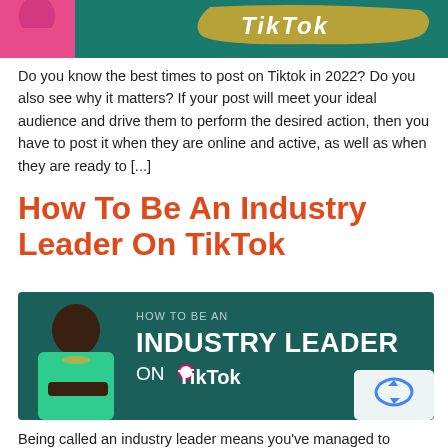[Figure (photo): Top banner image showing a woman in pink top on a teal background with TikTok branding and gold brush stroke]
Do you know the best times to post on Tiktok in 2022? Do you also see why it matters? If your post will meet your ideal audience and drive them to perform the desired action, then you have to post it when they are online and active, as well as when they are ready to [...]
How To Be An Industry Leader On TikTok
[Figure (photo): Article thumbnail image showing a Black woman in green top on dark teal background with text HOW TO BE AN INDUSTRY LEADER ON TikTok with TikTok logo]
Being called an industry leader means you've managed to